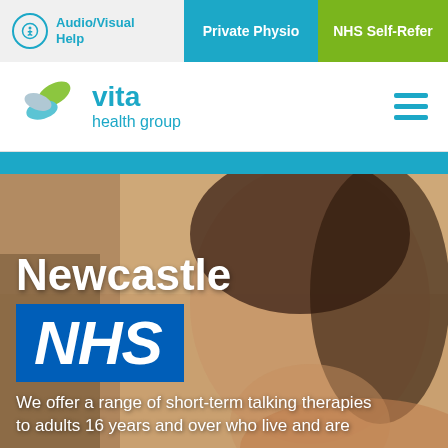Audio/Visual Help | Private Physio | NHS Self-Refer
[Figure (logo): Vita Health Group logo with leaf/wing icon in green and blue tones]
[Figure (photo): Hero image of a young woman smiling with warm background, overlaid with text: Newcastle, NHS badge, and partial text about short-term talking therapies]
Newcastle
NHS
We offer a range of short-term talking therapies to adults 16 years and over who live and are...